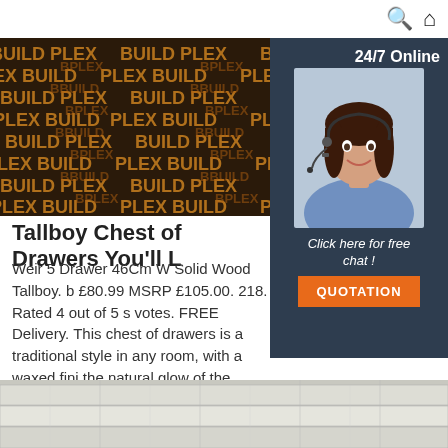Search | Home
[Figure (photo): BuildPlex branded textile/fabric banner with BUILD PLEX text pattern in gold/orange on dark background]
[Figure (photo): 24/7 Online chat widget with photo of smiling woman with headset, dark navy background, 'Click here for free chat!' text and orange QUOTATION button]
Tallboy Chest of Drawers You'll L
Weir 5 Drawer 46Cm W Solid Wood Tallboy. b £80.99 MSRP £105.00. 218. Rated 4 out of 5 s votes. FREE Delivery. This chest of drawers is a traditional style in any room, with a waxed fini the natural glow of the wood to shine through
[Figure (other): Get Price orange button]
[Figure (illustration): TOP scroll-to-top button with orange dot triangle logo above orange TOP text]
[Figure (photo): Stacked white/grey boxes or panels product image at bottom of page]